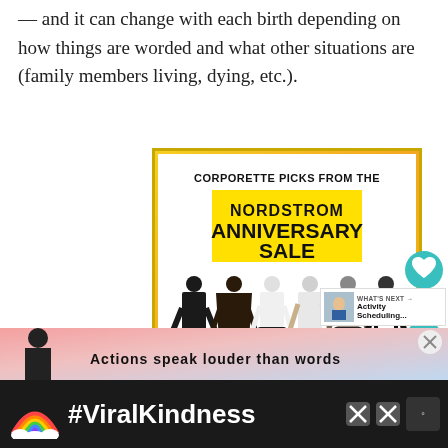— and it can change with each birth depending on how things are worded and what other situations are (family members living, dying, etc.).
[Figure (illustration): Advertisement banner for Corporette Picks from the Nordstrom Anniversary Sale, showing text 'CORPORETTE PICKS FROM THE NORDSTROM ANNIVERSARY SALE' on a gold/yellow background, with silhouettes of six women in various outfits (black dress, wrap dress, white blouse, cardigan, patterned top, black blazer) and italic text 'click for more!' at the bottom. Side UI elements show a teal heart button, a '1' count, and a teal share button. A 'WHAT'S NEXT → Activity Scheduling...' overlay appears at lower right.]
[Figure (illustration): Partial advertisement banner with colorful background showing partial text 'Actions speak louder than words']
[Figure (illustration): Dark advertisement bar at bottom with rainbow icon and '#ViralKindness' text in white, with close X buttons]